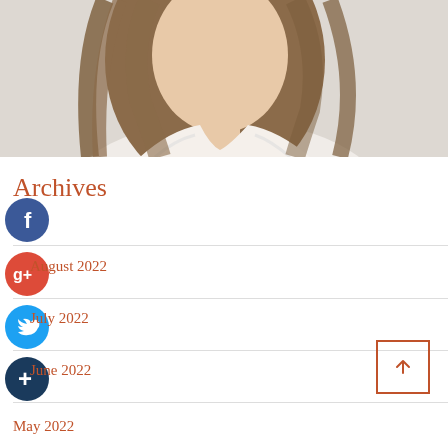[Figure (photo): Portrait photo of a young woman with long brown hair wearing a white lace top, on a light grey background. Image is cropped showing head and upper body.]
Archives
[Figure (infographic): Social media icons: Facebook (blue circle with f), Google+ (red circle with G+), Twitter (blue circle with bird), and a dark blue circle with plus sign, overlapping the archive links.]
August 2022
July 2022
June 2022
May 2022